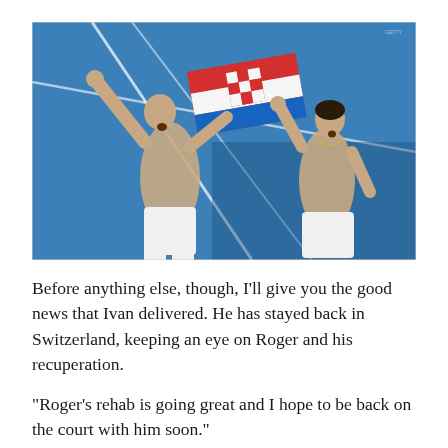[Figure (photo): Two shirtless male tennis players celebrating on a blue tennis court, holding a Croatian flag (red, white, and blue with checkered emblem) raised above their heads. The player on the left has his fist raised in the air and mouth open in celebration. Both players are wearing white shorts.]
Before anything else, though, I'll give you the good news that Ivan delivered. He has stayed back in Switzerland, keeping an eye on Roger and his recuperation.
“Roger’s rehab is going great and I hope to be back on the court with him soon.”